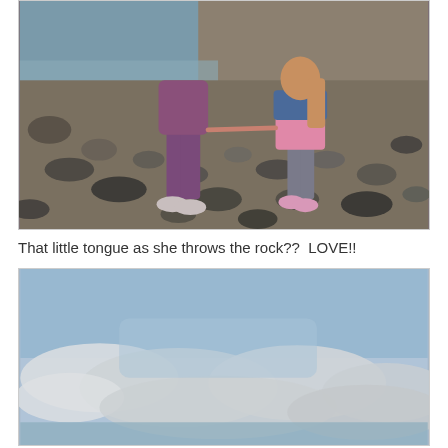[Figure (photo): Two people walking on a rocky beach. An adult in a purple outfit and sneakers holds hands with a young girl wearing a pink dress, denim jacket, and grey leggings with pink sneakers. The girl has long blonde hair. Rocks and water are visible in the background.]
That little tongue as she throws the rock??  LOVE!!
[Figure (photo): A partly cloudy sky over a body of water. Blue sky with white and grey clouds near the horizon.]